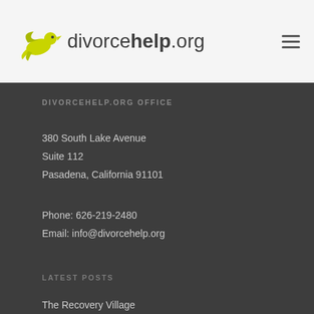[Figure (logo): divorcehelp.org logo with a dove/bird icon in yellow-green and text 'divorce' in light weight and 'help' in bold, followed by '.org']
DIVORCEHELP.ORG OFFICE
380 South Lake Avenue
Suite 112
Pasadena, California 91101
Phone: 626-219-2480
Email: info@divorcehelp.org
LATEST POSTS
The Recovery Village